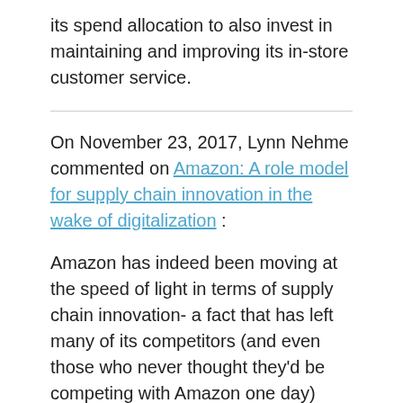its spend allocation to also invest in maintaining and improving its in-store customer service.
On November 23, 2017, Lynn Nehme commented on Amazon: A role model for supply chain innovation in the wake of digitalization :
Amazon has indeed been moving at the speed of light in terms of supply chain innovation- a fact that has left many of its competitors (and even those who never thought they'd be competing with Amazon one day) worried about a potential monopoly in the B2C space : in a report from October 2017, McKinsey sees the banks of the future at the center of the consumer ecosystem, placing them in direct competition with Amazon and its likes